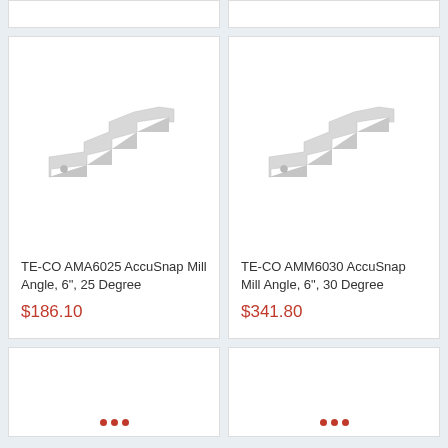[Figure (other): Top partial product cards (cropped)]
[Figure (photo): TE-CO AMA6025 AccuSnap Mill Angle product image, white/gray angled metal part on white background]
TE-CO AMA6025 AccuSnap Mill Angle, 6", 25 Degree
$186.10
[Figure (photo): TE-CO AMM6030 AccuSnap Mill Angle product image, white/gray angled metal part on white background]
TE-CO AMM6030 AccuSnap Mill Angle, 6", 30 Degree
$341.80
[Figure (other): Bottom partial product cards with red loading dots]